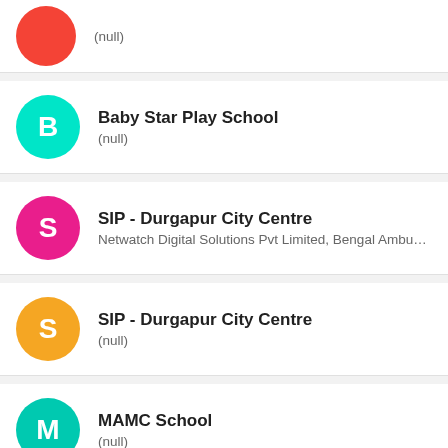(null)
Baby Star Play School
(null)
SIP - Durgapur City Centre
Netwatch Digital Solutions Pvt Limited, Bengal Ambuja H...
SIP - Durgapur City Centre
(null)
MAMC School
(null)
MAMC School
ABL Township, Bidhannagar, Durgapur